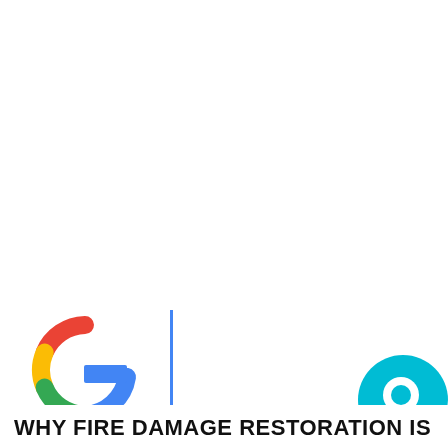[Figure (logo): Google 'G' logo in red, yellow, green, blue colors, positioned at lower left with a blue vertical bar on the left edge]
[Figure (logo): Quora circular chat bubble icon in teal/cyan color with white 'Q' inside, positioned at lower right]
WHY FIRE DAMAGE RESTORATION IS